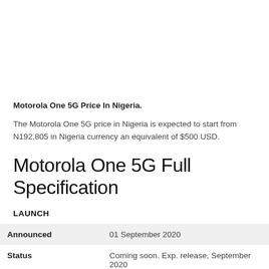Motorola One 5G Price In Nigeria.
The Motorola One 5G price in Nigeria is expected to start from N192,805 in Nigeria currency an equivalent of $500 USD.
Motorola One 5G Full Specification
LAUNCH
| Announced | 01 September 2020 |
| Status | Coming soon. Exp. release, September 2020 |